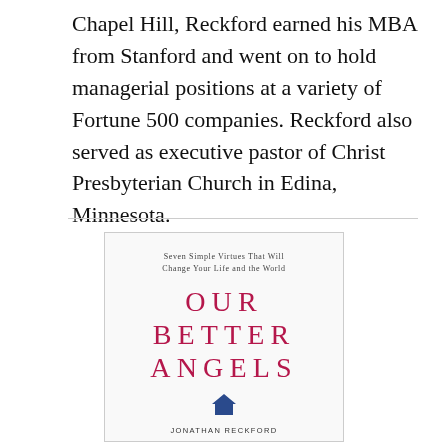Chapel Hill, Reckford earned his MBA from Stanford and went on to hold managerial positions at a variety of Fortune 500 companies. Reckford also served as executive pastor of Christ Presbyterian Church in Edina, Minnesota.
[Figure (illustration): Book cover of 'Our Better Angels' by Jonathan Reckford. Subtitle reads 'Seven Simple Virtues That Will Change Your Life and the World'. Title displayed in large crimson spaced letters. A small blue house icon appears below the title. Author name at bottom.]